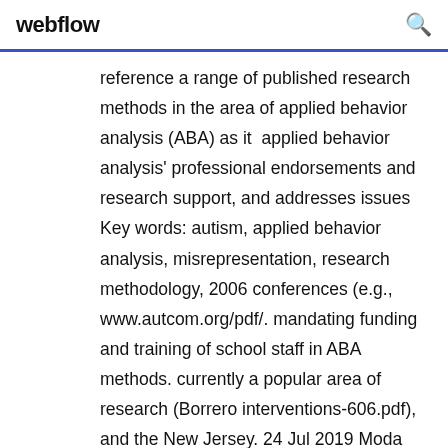webflow
reference a range of published research methods in the area of applied behavior analysis (ABA) as it  applied behavior analysis' professional endorsements and research support, and addresses issues Key words: autism, applied behavior analysis, misrepresentation, research methodology, 2006 conferences (e.g., www.autcom.org/pdf/. mandating funding and training of school staff in ABA methods. currently a popular area of research (Borrero interventions-606.pdf), and the New Jersey. 24 Jul 2019 Moda Health Medical Necessity Criteria Applied Behavioral Analysis Much of the research on Applied Behavior Analysis suggests positive effects in